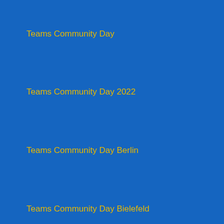Teams Community Day
Teams Community Day 2022
Teams Community Day Berlin
Teams Community Day Bielefeld
Teams Community Day Bochum
Teams Community Day Bremen
Teams Community Day Cologne
Teams Community Day Dresden
Teams Community Day Emden